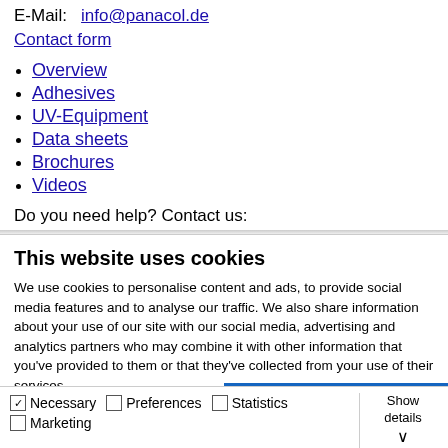E-Mail:   info@panacol.de
Contact form
Overview
Adhesives
UV-Equipment
Data sheets
Brochures
Videos
Do you need help? Contact us:
This website uses cookies
We use cookies to personalise content and ads, to provide social media features and to analyse our traffic. We also share information about your use of our site with our social media, advertising and analytics partners who may combine it with other information that you've provided to them or that they've collected from your use of their services.
Allow all cookies
Allow selection
Use necessary cookies only
✓ Necessary   □ Preferences   □ Statistics   □ Marketing   Show details ∨